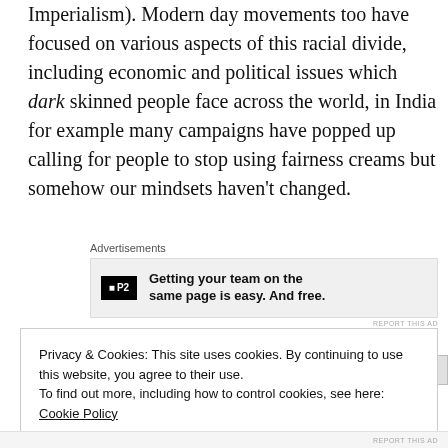Imperialism). Modern day movements too have focused on various aspects of this racial divide, including economic and political issues which dark skinned people face across the world, in India for example many campaigns have popped up calling for people to stop using fairness creams but somehow our mindsets haven't changed.
Advertisements
[Figure (other): Advertisement banner with P2 logo and text: Getting your team on the same page is easy. And free.]
Privacy & Cookies: This site uses cookies. By continuing to use this website, you agree to their use.
To find out more, including how to control cookies, see here: Cookie Policy
Close and accept